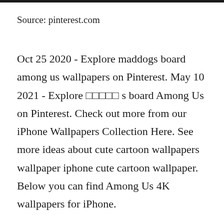Source: pinterest.com
Oct 25 2020 - Explore maddogs board among us wallpapers on Pinterest. May 10 2021 - Explore □□□□□ s board Among Us on Pinterest. Check out more from our iPhone Wallpapers Collection Here. See more ideas about cute cartoon wallpapers wallpaper iphone cute cartoon wallpaper. Below you can find Among Us 4K wallpapers for iPhone.